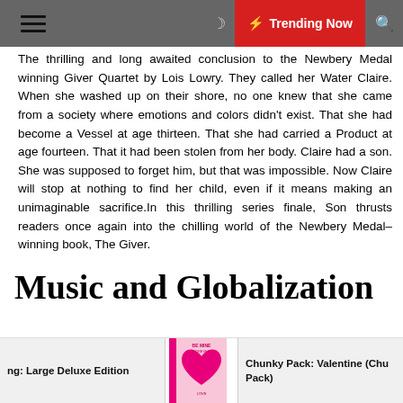Trending Now
The thrilling and long awaited conclusion to the Newbery Medal winning Giver Quartet by Lois Lowry. They called her Water Claire. When she washed up on their shore, no one knew that she came from a society where emotions and colors didn't exist. That she had become a Vessel at age thirteen. That she had carried a Product at age fourteen. That it had been stolen from her body. Claire had a son. She was supposed to forget him, but that was impossible. Now Claire will stop at nothing to find her child, even if it means making an unimaginable sacrifice.In this thrilling series finale, Son thrusts readers once again into the chilling world of the Newbery Medal–winning book, The Giver.
Music and Globalization
Author: Bob W. White
Editor: Indiana University Press
Music and Globalization Critical Encounters
ng: Large Deluxe Edition
[Figure (photo): Valentine's Day book cover with pink heart]
Chunky Pack: Valentine (Chu Pack)